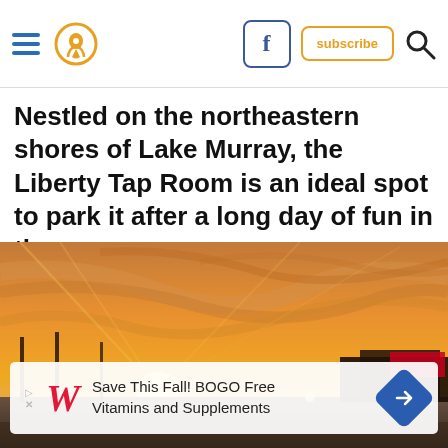Navigation bar with hamburger menu, location pin icon, Facebook icon, Subscribe button, Search icon
Nestled on the northeastern shores of Lake Murray, the Liberty Tap Room is an ideal spot to park it after a long day of fun in the sun.
[Figure (photo): Sunset photo over a parking lot near a commercial building. Dramatic orange and yellow sky with streaking clouds. Building silhouettes and parking lot lights visible in the lower portion.]
Save This Fall! BOGO Free Vitamins and Supplements